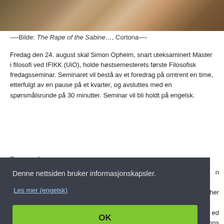[Figure (photo): Partial view of a painting showing figures, likely The Rape of the Sabine Women by Cortona]
-—Bilde: The Rape of the Sabine…, Cortona—-
Fredag den 24. august skal Simon Opheim, snart uteksaminert Master i filosofi ved IFIKK (UiO), holde høstsemesterets første Filosofisk fredagsseminar. Seminaret vil bestå av et foredrag på omtrent en time, etterfulgt av en pause på et kvarter, og avsluttes med en spørsmålsrunde på 30 minutter. Seminar vil bli holdt på engelsk.
Sammendrag:
Denne nettsiden bruker informasjonskapsler.
Les mer (engelsk)
OK